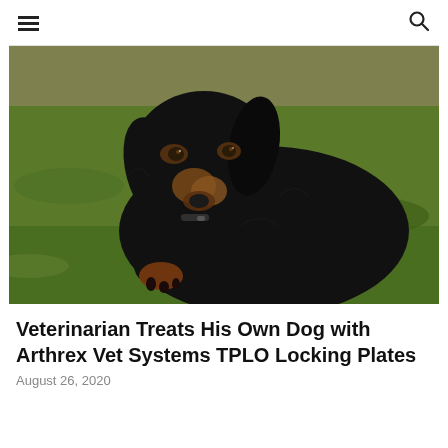≡  🔍
[Figure (photo): A black and tan Gordon Setter dog lying on grass, looking at the camera with a calm expression. The dog has long silky black fur with tan markings on the face and paws.]
Veterinarian Treats His Own Dog with Arthrex Vet Systems TPLO Locking Plates
August 26, 2020